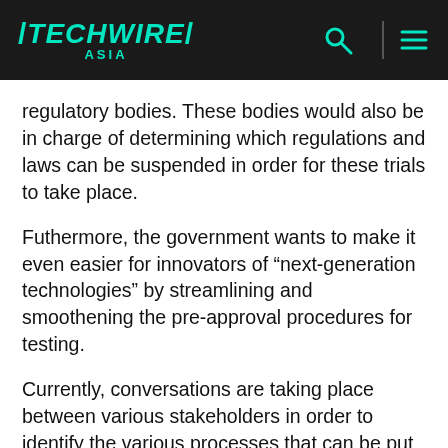TECHWIRE ASIA
regulatory bodies. These bodies would also be in charge of determining which regulations and laws can be suspended in order for these trials to take place.
Futhermore, the government wants to make it even easier for innovators of “next-generation technologies” by streamlining and smoothening the pre-approval procedures for testing.
Currently, conversations are taking place between various stakeholders in order to identify the various processes that can be put into place to allow these tests to run without jeopardizing the safety and security of local civilians and businesses.